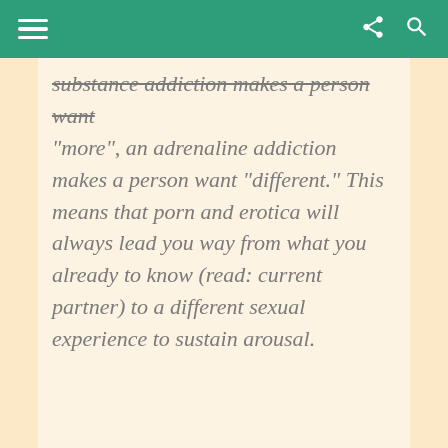[navigation bar with hamburger menu, share icon, search icon]
substance addiction makes a person want “more”, an adrenaline addiction makes a person want “different.” This means that porn and erotica will always lead you way from what you already to know (read: current partner) to a different sexual experience to sustain arousal.